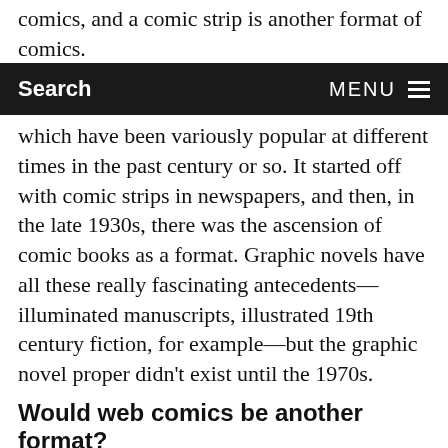comics, and a comic strip is another format of comics.
Search   MENU
which have been variously popular at different times in the past century or so. It started off with comic strips in newspapers, and then, in the late 1930s, there was the ascension of comic books as a format. Graphic novels have all these really fascinating antecedents—illuminated manuscripts, illustrated 19th century fiction, for example—but the graphic novel proper didn't exist until the 1970s.
Would web comics be another format?
Absolutely. It's a relatively new—and I think incredibly powerful and interesting—format of comics. There's a lot of debate about what makes comics comics. I find that pretty tiresome because it can get really pedantic. Some people have been